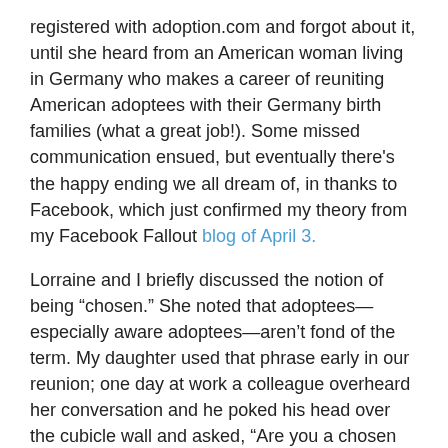registered with adoption.com and forgot about it, until she heard from an American woman living in Germany who makes a career of reuniting American adoptees with their Germany birth families (what a great job!). Some missed communication ensued, but eventually there's the happy ending we all dream of, in thanks to Facebook, which just confirmed my theory from my Facebook Fallout blog of April 3.
Lorraine and I briefly discussed the notion of being "chosen." She noted that adoptees—especially aware adoptees—aren't fond of the term. My daughter used that phrase early in our reunion; one day at work a colleague overheard her conversation and he poked his head over the cubicle wall and asked, "Are you a chosen one too?" My daughter's adoptive father told me the story of how they came to be her parents. They didn't "choose" my daughter; she fell into their laps. The agency called them the day I signed the relinquishment papers and asked if they were prepared to take on a daughter. No bassinettes full of bundles of joy, no storks.